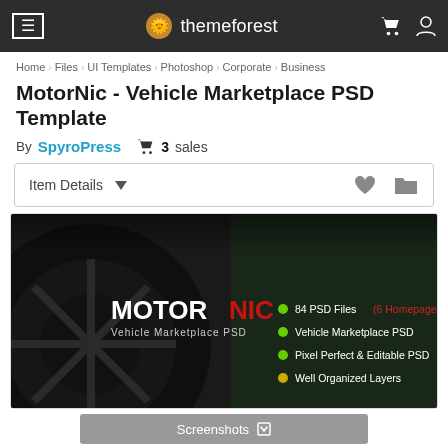themeforest navigation bar with hamburger menu, cart and user icons
Home > Files > UI Templates > Photoshop > Corporate > Business
MotorNic - Vehicle Marketplace PSD Template
By SpyroPress   3 sales
Item Details ▼
[Figure (screenshot): MotorNic Vehicle Marketplace PSD template promotional image showing a car wheel background with text: MOTOR NIC Vehicle Marketplace PSD, and bullet points: 84 PSD Files (6 Homepages), Vehicle Marketplace PSD, Pixel Perfect & Editable PSD, Well Organized Layers]
Screenshots